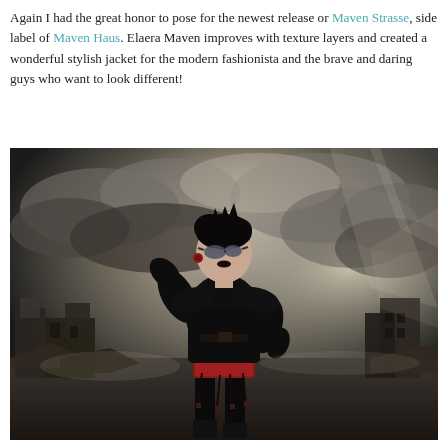Again I had the great honor to pose for the newest release or Maven Strasse, side label of Maven Haus. Elaera Maven improves with texture layers and created a wonderful stylish jacket for the modern fashionista and the brave and daring guys who want to look different!
[Figure (photo): A stylized 3D avatar/character dressed in a black turtleneck jacket and red mini skirt with garter straps and thigh-high boots, posed against a dramatic post-apocalyptic background with dark stormy clouds and ruined buildings.]